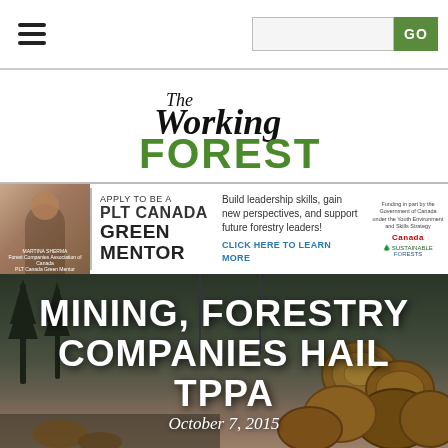Navigation bar with hamburger menu and GO search button
The Working Forest
[Figure (infographic): PLT Canada Green Mentor advertisement banner with photo of Martina Sherma]
[Figure (photo): Hero image of logged timber/tree stumps in a forest clearing, dark atmospheric background]
MINING, FORESTRY COMPANIES HAIL TPPA
October 7, 2015